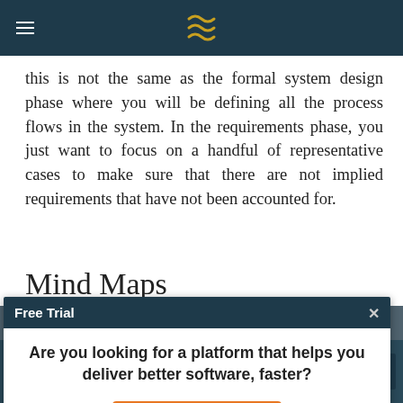Free Trial
this is not the same as the formal system design phase where you will be defining all the process flows in the system. In the requirements phase, you just want to focus on a handful of representative cases to make sure that there are not implied requirements that have not been accounted for.
Mind Maps
Another useful tool for analyzing the system is a mind-map. In this type of diagram, you will with the main concept and draw lines to smaller and smaller items as you break down each idea and concept into smaller parts.
[Figure (screenshot): Screenshot of a mind map software interface at bottom of page]
Are you looking for a platform that helps you deliver better software, faster?
Try Spira